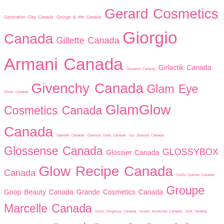Generation Clay Canada George & Me Canada Gerard Cosmetics Canada Gillette Canada Giorgio Armani Canada Giovanni Canada Girlactik Canada Gisou Canada Givenchy Canada Glam Eye Cosmetics Canada GlamGlow Canada Glamlite Canada Glamour Dolls Canada Glo Science Canada Glossense Canada Glossier Canada GLOSSYBOX Canada Glow Recipe Canada GoGo Quinoa Canada Goop Beauty Canada Grande Cosmetics Canada Groupe Marcelle Canada Grow Gorgeous Canada Grown Alchemist Canada GSK Healthy Savings Program Canada Gucci Canada Guerlain Canada H2O+ Beauty Hairfinity Canada Hali Canada Hallmark Canada Halo Beauty Canada Halo Top Creamery Canada Hank and Henry Canada Happy Hippo Bath Company Canada Hard Candy Canada Harvey's Canada Haus Laboratories Canada Hawaiian Tropic Canada Heinz Canada Herbivore Canada Hermes Canada Hershey Canada HIF Canada High Beauty Canada High Liner Canada Hipdot Canada Holika Holika Canada Holt Renfrew Canada HomeSense Canada Home Tester Club Canada Honest Beauty Canada Honeywell Canada